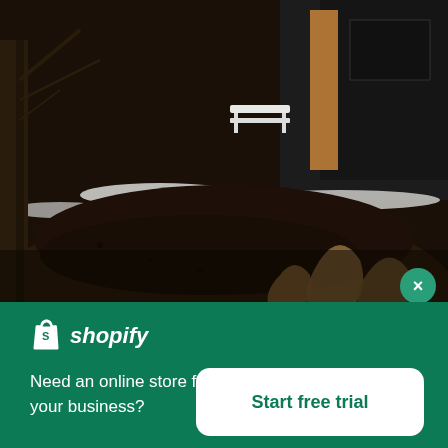[Figure (photo): Outdoor winter scene showing a house exterior with dark walls, bare trees, patches of snow on the ground, burlap-wrapped garden plants, and a white bench visible in the background.]
[Figure (logo): Shopify logo: white shopping bag icon with letter S, followed by italic bold white text 'shopify']
Need an online store for your business?
Start free trial